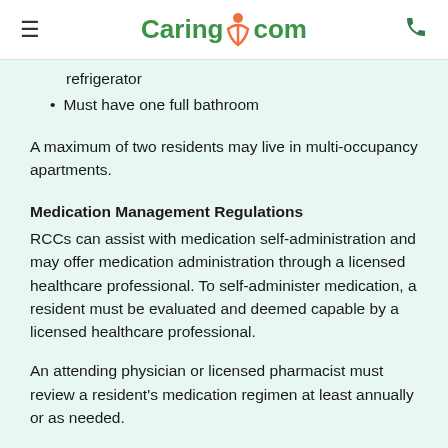≡  Caring.com  📞
refrigerator
Must have one full bathroom
A maximum of two residents may live in multi-occupancy apartments.
Medication Management Regulations
RCCs can assist with medication self-administration and may offer medication administration through a licensed healthcare professional. To self-administer medication, a resident must be evaluated and deemed capable by a licensed healthcare professional.
An attending physician or licensed pharmacist must review a resident's medication regimen at least annually or as needed.
ALR staff can assist with medication